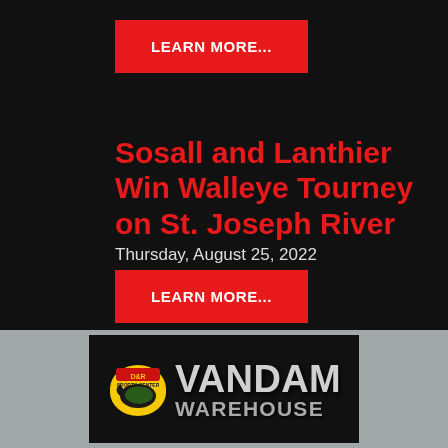[Figure (other): Red LEARN MORE... button at top]
Sosall and Lanthier Win Walleye Tourney on St. Joseph River
Thursday, August 25, 2022
[Figure (other): Red LEARN MORE... button below date]
[Figure (logo): D&R Sports Center VanDam Warehouse logo banner on grey background]